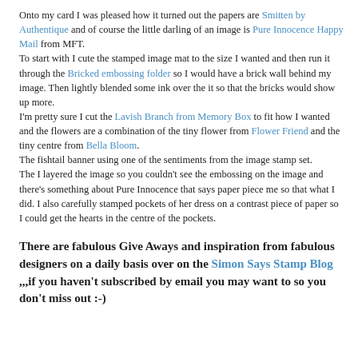Onto my card I was pleased how it turned out the papers are Smitten by Authentique and of course the little darling of an image is Pure Innocence Happy Mail from MFT.
To start with I cute the stamped image mat to the size I wanted and then run it through the Bricked embossing folder so I would have a brick wall behind my image. Then lightly blended some ink over the it so that the bricks would show up more.
I'm pretty sure I cut the Lavish Branch from Memory Box to fit how I wanted and the flowers are a combination of the tiny flower from Flower Friend and the tiny centre from Bella Bloom.
The fishtail banner using one of the sentiments from the image stamp set.
The I layered the image so you couldn't see the embossing on the image and there's something about Pure Innocence that says paper piece me so that what I did. I also carefully stamped pockets of her dress on a contrast piece of paper so I could get the hearts in the centre of the pockets.
There are fabulous Give Aways and inspiration from fabulous designers on a daily basis over on the Simon Says Stamp Blog ,,,if you haven't subscribed by email you may want to so you don't miss out :-)